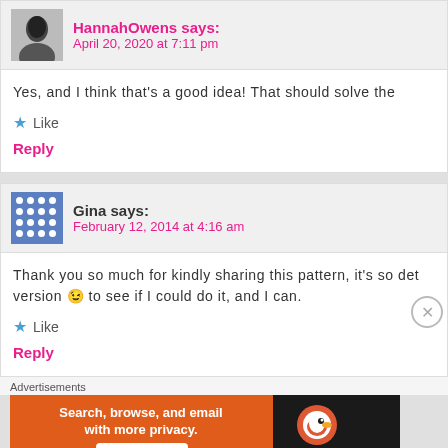HannahOwens says: April 20, 2020 at 7:11 pm
Yes, and I think that's a good idea! That should solve the
Like
Reply
Gina says: February 12, 2014 at 4:16 am
Thank you so much for kindly sharing this pattern, it's so det… version 😉 to see if I could do it, and I can.
Like
Reply
Advertisements
[Figure (screenshot): DuckDuckGo ad banner: orange and dark background with text 'Search, browse, and email with more privacy. All in One Free App' and DuckDuckGo logo]